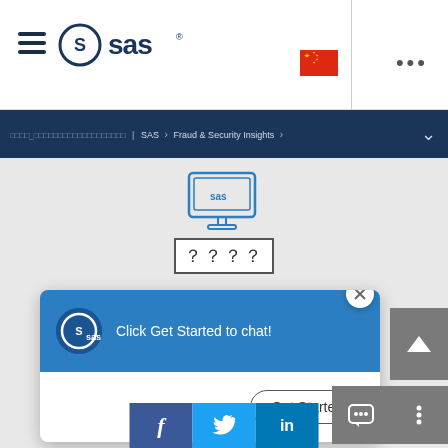[Figure (logo): SAS logo with hamburger menu icon in top-left header]
[Figure (illustration): China flag (red with yellow stars) in top header]
... (ellipsis/more options) in top header
□□□□_□□□□□□□□□□□□□□□□□□□ | SAS > Fraud & Security Insights >
[Figure (illustration): Monitor/screen icon with SAS interface]
？？？？
[Figure (screenshot): Chat popup with SAS logo, 'Click Get Started to chat!' message, and Get Started button]
[Figure (illustration): Social media bar with Facebook, Twitter, LinkedIn icons]